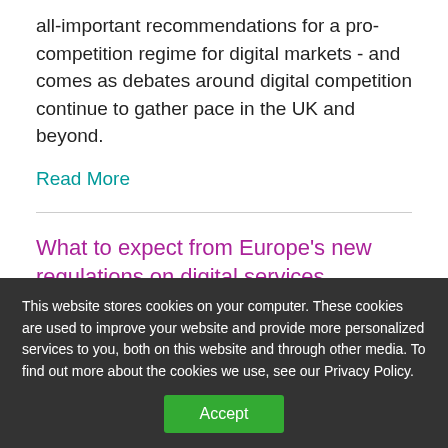all-important recommendations for a pro-competition regime for digital markets - and comes as debates around digital competition continue to gather pace in the UK and beyond.
Read More
What to expect from Europe's new regulations on digital services
This website stores cookies on your computer. These cookies are used to improve your website and provide more personalized services to you, both on this website and through other media. To find out more about the cookies we use, see our Privacy Policy.